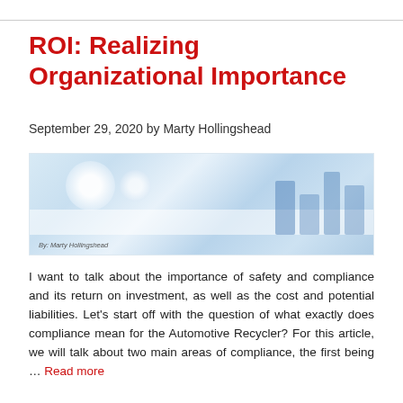ROI: Realizing Organizational Importance
September 29, 2020 by Marty Hollingshead
[Figure (photo): Blurred light blue background image with soft bokeh circles and faint rectangular shapes on the right side, with text 'By: Marty Hollingshead' in the lower left corner.]
I want to talk about the importance of safety and compliance and its return on investment, as well as the cost and potential liabilities. Let's start off with the question of what exactly does compliance mean for the Automotive Recycler? For this article, we will talk about two main areas of compliance, the first being … Read more